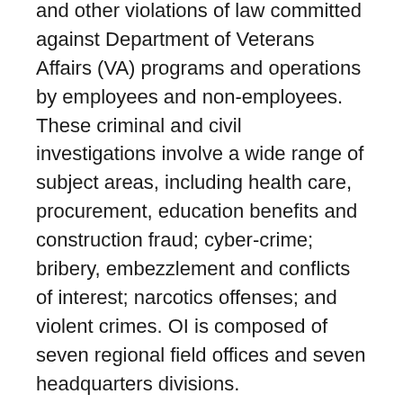and other violations of law committed against Department of Veterans Affairs (VA) programs and operations by employees and non-employees. These criminal and civil investigations involve a wide range of subject areas, including health care, procurement, education benefits and construction fraud; cyber-crime; bribery, embezzlement and conflicts of interest; narcotics offenses; and violent crimes. OI is composed of seven regional field offices and seven headquarters divisions.
The following are the duties of this position at the GS-13 full performance-level; however, you will be selected at a lower grade level (GL-07 or GL-09). You will be provided the opportunity to learn to perform these duties and will receive training to help you grow in this position. - Function as a law enforcement officer with full law enforcement authority, i.e., carrying authorized firearms and other enforcement equipment; applying